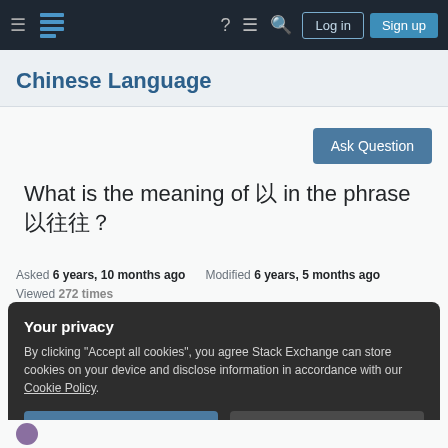Chinese Language Stack Exchange navigation bar with Log in and Sign up buttons
Chinese Language
Ask Question
What is the meaning of 以 in the phrase 以往往?
Asked 6 years, 10 months ago   Modified 6 years, 5 months ago
Viewed 272 times
Your privacy
By clicking "Accept all cookies", you agree Stack Exchange can store cookies on your device and disclose information in accordance with our Cookie Policy.
Accept all cookies   Customize settings